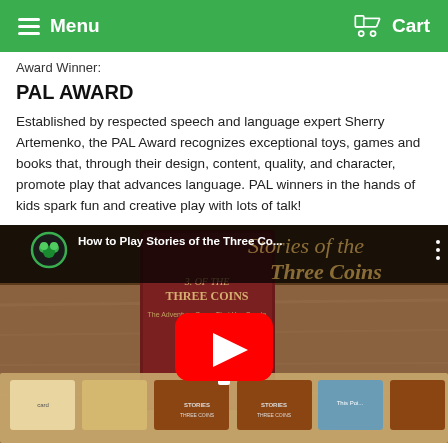Menu  Cart
Award Winner:
PAL AWARD
Established by respected speech and language expert Sherry Artemenko, the PAL Award recognizes exceptional toys, games and books that, through their design, content, quality, and character, promote play that advances language. PAL winners in the hands of kids spark fun and creative play with lots of talk!
[Figure (screenshot): YouTube video thumbnail showing a board game (Stories of the Three Coins) on a table, with a YouTube play button overlay and video title 'How to Play Stories of the Three Co...']